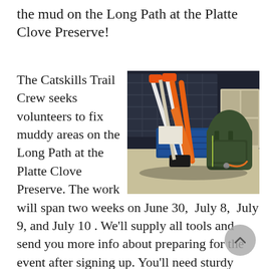the mud on the Long Path at the Platte Clove Preserve!
[Figure (photo): Trail tools including shovels and loppers with orange handles leaning against a blue crate, next to a green hiking backpack, on a light-colored floor.]
The Catskills Trail Crew seeks volunteers to fix muddy areas on the Long Path at the Platte Clove Preserve. The work will span two weeks on June 30, July 8, July 9, and July 10 . We'll supply all tools and send you more info about preparing for the event after signing up. You'll need sturdy hiking boots for